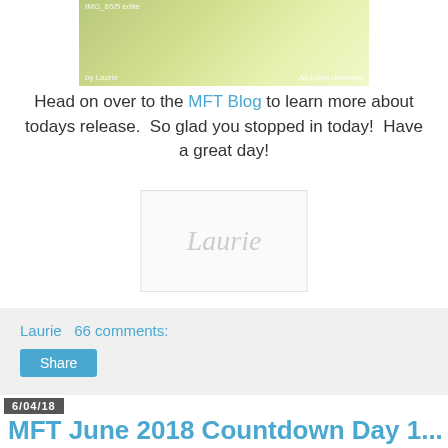[Figure (photo): Cropped photo of a card with polka dot pattern, credited to Laurie. Text overlay: IMG_65/5 edite, by Laurie, All rights reserved.]
Head on over to the MFT Blog to learn more about todays release.  So glad you stopped in today!  Have a great day!
[Figure (illustration): Signature image showing cursive 'Laurie' in light gray on white/light background with border.]
Laurie    66 comments:
Share
6/04/18
MFT June 2018 Countdown Day 1...
Hello friends!  Today is the last day of the MFT Countdown and tomorrow is the release!  Yay!  Do you have favorite picked out yet?  I do!  And a couple of them are on this card